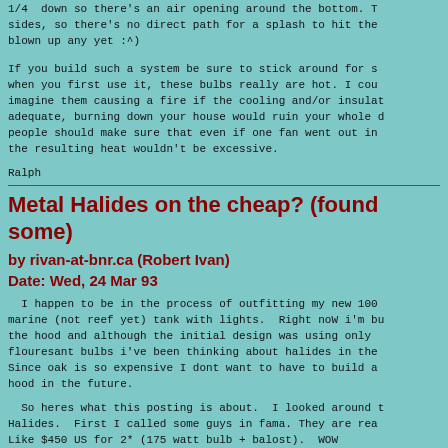1/4  down so there's an air opening around the bottom. The sides, so there's no direct path for a splash to hit the blown up any yet :^)
If you build such a system be sure to stick around for se when you first use it, these bulbs really are hot. I cou imagine them causing a fire if the cooling and/or insulat adequate, burning down your house would ruin your whole d people should make sure that even if one fan went out in the resulting heat wouldn't be excessive.
Ralph
Metal Halides on the cheap? (found some)
by rivan-at-bnr.ca (Robert Ivan)
Date: Wed, 24 Mar 93
I happen to be in the process of outfitting my new 100 marine (not reef yet) tank with lights.  Right noW i'm bu the hood and although the initial design was using only flouresant bulbs i've been thinking about halides in the Since oak is so expensive I dont want to have to build a hood in the future.
So heres what this posting is about.  I looked around t Halides.  First I called some guys in fama. They are rea Like $450 US for 2* (175 watt bulb + balost).  WOW